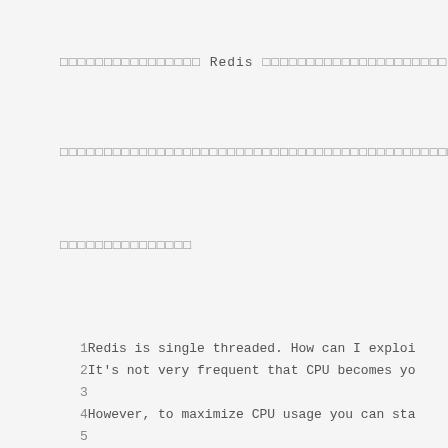□□□□□□□□□□□□□□□□ Redis □□□□□□□□□□□□□□□□□□□□□
□□□□□□□□□□□□□□□□□□□□□□□□□□□□□□□□□□□□□□□□□□□□□□□□□
□□□□□□□□□□□□□□□
1Redis is single threaded. How can I exploi
2It's not very frequent that CPU becomes yo
3
4However, to maximize CPU usage you can sta
5